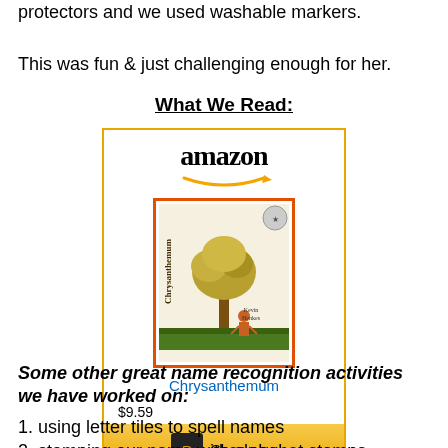protectors and we used washable markers.
This was fun & just challenging enough for her.
What We Read:
[Figure (other): Amazon product widget showing the book 'Chrysanthemum' priced at $9.59 with a Shop now button]
Some other great name recognition activities we have worked on:
1. using letter tiles to spell names
2. stamping our name with alphabet stamps